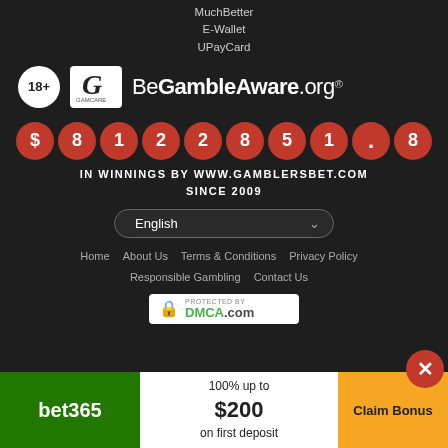MuchBetter
E-Wallet
UPayCard
[Figure (logo): 18+ age restriction circle logo, GamCare logo, BeGambleAware.org logo]
[Figure (infographic): Jackpot counter showing $8122851.8 in red circles]
IN WINNINGS BY WWW.GAMBLERSBET.COM SINCE 2009
English (language selector dropdown)
Home   About Us   Terms & Conditions   Privacy Policy   Responsible Gambling   Contact Us
[Figure (logo): DMCA.com Protected badge]
[Figure (infographic): bet365 bonus promo bar: 100% up to $200 on first deposit, Claim Bonus button]